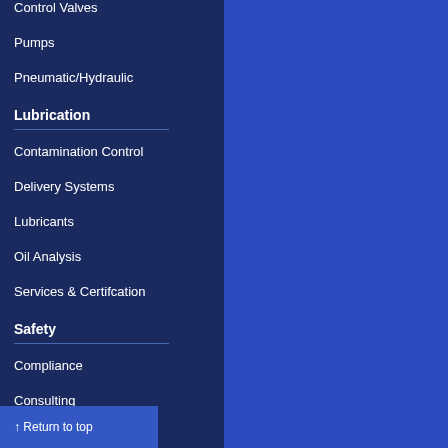Control Valves
Pumps
Pneumatic/Hydraulic
Lubrication
Contamination Control
Delivery Systems
Lubricants
Oil Analysis
Services & Certifcation
Safety
Compliance
Consulting
↑ Return to top